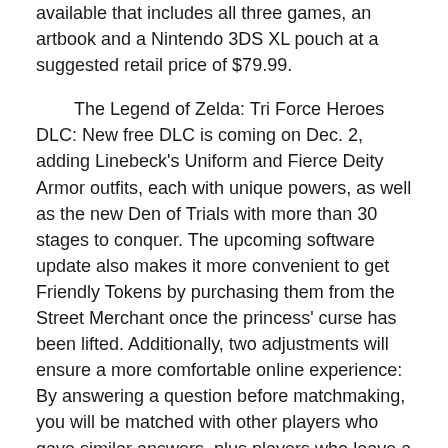available that includes all three games, an artbook and a Nintendo 3DS XL pouch at a suggested retail price of $79.99.
The Legend of Zelda: Tri Force Heroes DLC: New free DLC is coming on Dec. 2, adding Linebeck's Uniform and Fierce Deity Armor outfits, each with unique powers, as well as the new Den of Trials with more than 30 stages to conquer. The upcoming software update also makes it more convenient to get Friendly Tokens by purchasing them from the Street Merchant once the princess' curse has been lifted. Additionally, two adjustments will ensure a more comfortable online experience: By answering a question before matchmaking, you will be matched with other players who gave similar answers, plus players who leave a game in progress through the Pause menu can be added to the blacklist.